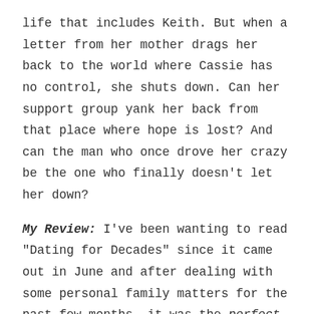life that includes Keith. But when a letter from her mother drags her back to the world where Cassie has no control, she shuts down. Can her support group yank her back from that place where hope is lost? And can the man who once drove her crazy be the one who finally doesn't let her down?
My Review: I've been wanting to read "Dating for Decades" since it came out in June and after dealing with some personal family matters for the past few months, it was the perfect read to keep my mind distracted.
For a woman worried about turning the big 4-0, she acted much younger, similar to a young child